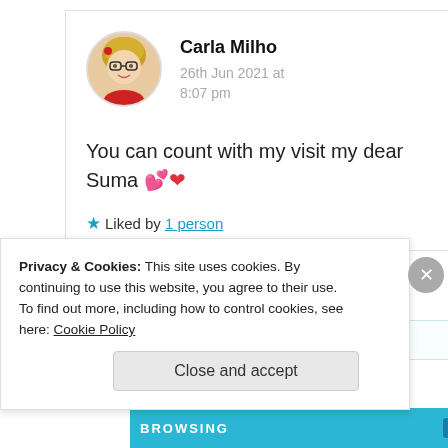[Figure (photo): Circular avatar photo of Carla Milho, a woman with glasses and blonde hair wearing a red top]
Carla Milho
26th Jun 2021 at 8:07 pm
You can count with my visit my dear Suma 💕❤️
★ Liked by 1 person
Privacy & Cookies: This site uses cookies. By continuing to use this website, you agree to their use.
To find out more, including how to control cookies, see here: Cookie Policy
Close and accept